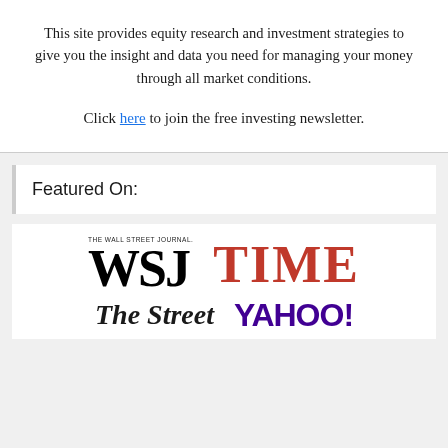This site provides equity research and investment strategies to give you the insight and data you need for managing your money through all market conditions.
Click here to join the free investing newsletter.
Featured On:
[Figure (logo): Logos for WSJ (The Wall Street Journal), TIME, The Street, and YAHOO!]